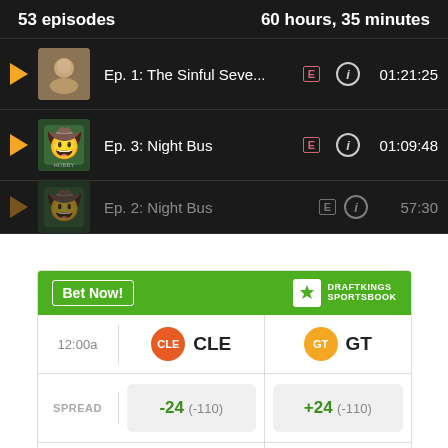53 episodes · 60 hours, 35 minutes
Ep. 1: The Sinful Seve... [E] 01:21:25
Ep. 3: Night Bus [E] 01:09:48
Ep. 2: Night Bus ... 57:30 (partial)
[Figure (screenshot): DraftKings Sportsbook betting widget showing CLE vs GT matchup at 12:00a. SPREAD: -24 (-110) vs +24 (-110). MONEY LINE: -4000 vs +1500. OVER/UNDER: > 51 (-110).]
|  | CLE | GT |
| --- | --- | --- |
| SPREAD | -24 (-110) | +24 (-110) |
| MONEY LINE | -4000 | +1500 |
| OVER UNDER | > 51 (-110) |  |